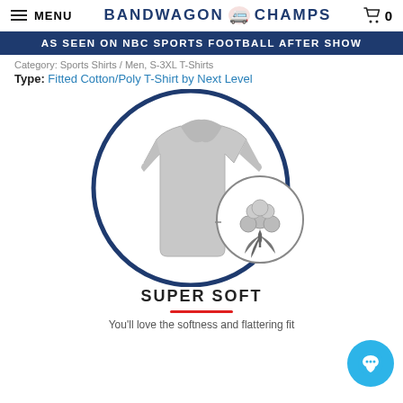MENU | BANDWAGON CHAMPS | 0
AS SEEN ON NBC SPORTS FOOTBALL AFTER SHOW
Category: Sports Shirts / Men, S-3XL T-Shirts
Type: Fitted Cotton/Poly T-Shirt by Next Level
[Figure (illustration): A circular illustration with a dark blue border showing a grey T-shirt with a cotton boll icon in a smaller circle at the lower right, indicating the fabric material.]
SUPER SOFT
You'll love the softness and flattering fit